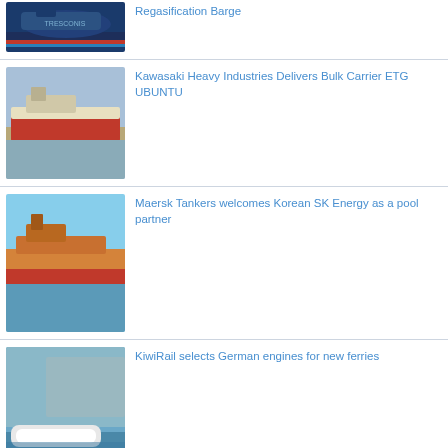[Figure (photo): Ship/vessel photo - Regasification Barge, dark blue hull with red stripe]
Regasification Barge
[Figure (photo): Bulk carrier ship ETG UBUNTU with red hull on water]
Kawasaki Heavy Industries Delivers Bulk Carrier ETG UBUNTU
[Figure (photo): Tanker ship with orange/red hull on water - Maersk Tankers]
Maersk Tankers welcomes Korean SK Energy as a pool partner
[Figure (photo): Ferry vessel on water near coastal town - KiwiRail ferry]
KiwiRail selects German engines for new ferries
[Figure (photo): Offshore construction vessel BOA Deep C with red hull]
Posh Expands Service Capabilities With Acqusition Of Offshore Construction Vessel BOA Deep C